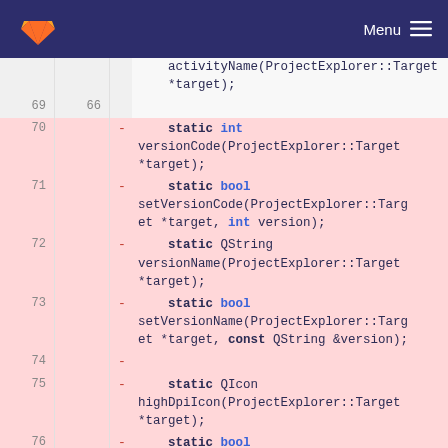GitLab — Menu
[Figure (screenshot): GitLab code diff view showing C++ header file with removed lines 70-76, including static methods: versionCode, setVersionCode, versionName, setVersionName, highDpiIcon, setHighDpiIcon for ProjectExplorer::Target]
activityName(ProjectExplorer::Target *target);
69 | 66
70 - static int versionCode(ProjectExplorer::Target *target);
71 - static bool setVersionCode(ProjectExplorer::Target *target, int version);
72 - static QString versionName(ProjectExplorer::Target *target);
73 - static bool setVersionName(ProjectExplorer::Target *target, const QString &version);
74 -
75 - static QIcon highDpiIcon(ProjectExplorer::Target *target);
76 - static bool setHighDpiIcon(ProjectExplorer::Targ